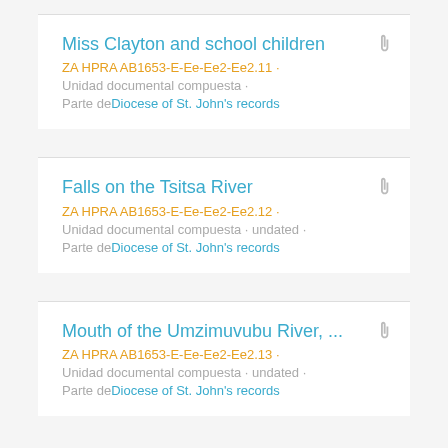Miss Clayton and school children
ZA HPRA AB1653-E-Ee-Ee2-Ee2.11 ·
Unidad documental compuesta ·
Parte de Diocese of St. John's records
Falls on the Tsitsa River
ZA HPRA AB1653-E-Ee-Ee2-Ee2.12 ·
Unidad documental compuesta · undated ·
Parte de Diocese of St. John's records
Mouth of the Umzimuvubu River, ...
ZA HPRA AB1653-E-Ee-Ee2-Ee2.13 ·
Unidad documental compuesta · undated ·
Parte de Diocese of St. John's records